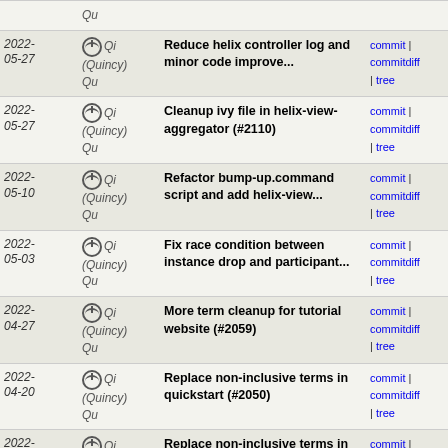| Date | Author | Commit message | Links |
| --- | --- | --- | --- |
| 2022-05-27 | Qi (Quincy) Qu | Reduce helix controller log and minor code improve... | commit | commitdiff | tree |
| 2022-05-27 | Qi (Quincy) Qu | Cleanup ivy file in helix-view-aggregator (#2110) | commit | commitdiff | tree |
| 2022-05-10 | Qi (Quincy) Qu | Refactor bump-up.command script and add helix-view... | commit | commitdiff | tree |
| 2022-05-03 | Qi (Quincy) Qu | Fix race condition between instance drop and participant... | commit | commitdiff | tree |
| 2022-04-27 | Qi (Quincy) Qu | More term cleanup for tutorial website (#2059) | commit | commitdiff | tree |
| 2022-04-20 | Qi (Quincy) Qu | Replace non-inclusive terms in quickstart (#2050) | commit | commitdiff | tree |
| 2022-04-18 | Qi (Quincy) Qu | Replace non-inclusive terms in tutorial.md (#2039) | commit | commitdiff | tree |
| 2022-04-18 | Qi (Quincy) Qu | Code refactor and cleanup on instance validation (... | commit | commitdiff | tree |
| 2022-04-11 | Qi (Quincy) Qu | Update dependencies and fix compile errors | commit | commitdiff | tree |